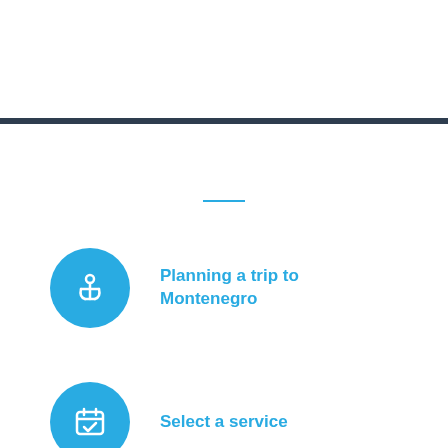[Figure (illustration): Dark horizontal divider bar spanning full width]
Planning a trip to Montenegro
Select a service